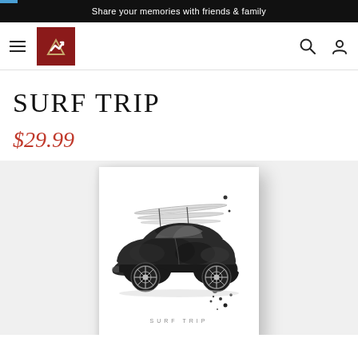Share your memories with friends & family
[Figure (logo): Navigation bar with hamburger menu, red logo box with checkmark, search icon, and account icon]
SURF TRIP
$29.99
[Figure (illustration): Watercolor illustration of a classic Porsche 911 car in dark grey/black tones with surfboards strapped to the roof rack, small ink splatter dots around the car. Text 'SURF TRIP' at the bottom of the artwork. Shown mounted on a white canvas with slight shadow.]